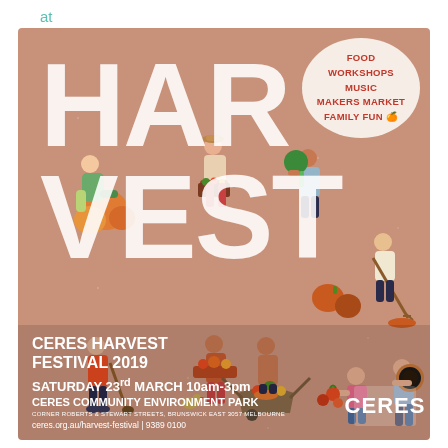at SpellBox 10:30am-12:30pm
[Figure (illustration): CERES Harvest Festival 2019 event poster on a terracotta/salmon background. Large white letters spelling HARVEST dominate the poster with illustrated figures of people harvesting vegetables, carrying produce, and gardening scattered among the letters. A speech bubble in the top right lists: FOOD, WORKSHOPS, MUSIC, MAKERS MARKET, FAMILY FUN. Bottom section shows event details: CERES HARVEST FESTIVAL 2019, SATURDAY 23rd MARCH 10am-3pm, CERES COMMUNITY ENVIRONMENT PARK, CORNER ROBERTS & STEWART STREETS, BRUNSWICK EAST 3057 MELBOURNE, ceres.org.au/harvest-festival | 9389 0100, and the CERES logo.]